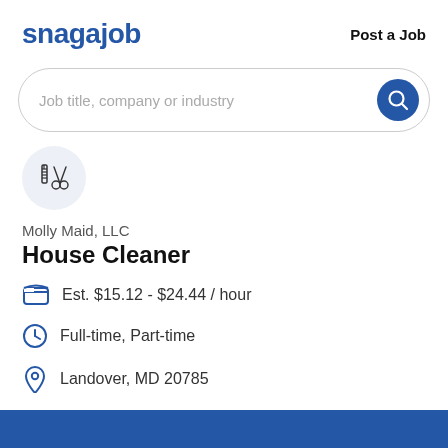snagajob    Post a Job
[Figure (screenshot): Search bar with placeholder text 'Job title, company or industry' and a blue circular search button]
[Figure (logo): Molly Maid LLC company icon - scissors and comb icon in a light blue circle]
Molly Maid, LLC
House Cleaner
Est. $15.12 - $24.44 / hour
Full-time, Part-time
Landover, MD 20785